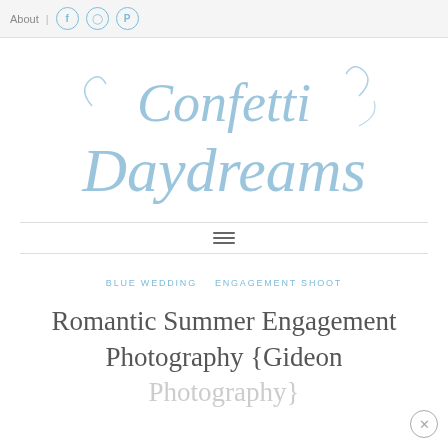About | [Facebook] [Instagram] [Pinterest]
[Figure (logo): Confetti Daydreams cursive script logo in light blue watercolor style]
≡
BLUE WEDDING   ENGAGEMENT SHOOT
Romantic Summer Engagement Photography {Gideon Photography}